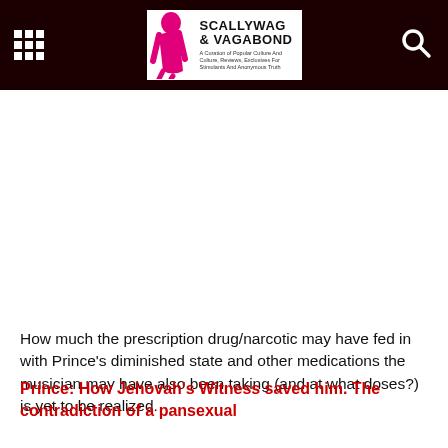SCALLYWAG & VAGABOND
How much the prescription drug/narcotic may have fed in with Prince's diminished state and other medications the musician may have also been taking (and at what doses?) is yet to be realized.
Prince: How Jehovah's Witness saved him. The contradiction of a pansexual